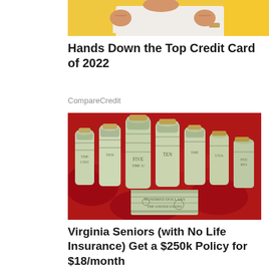[Figure (photo): Cropped photo of a person in white t-shirt and bracelet, against yellow background — top portion of an ad image]
Hands Down the Top Credit Card of 2022
CompareCredit
[Figure (photo): Photo of multiple rolled-up US dollar bills standing upright on a red fabric background, with a flat stack of bills in the foreground]
Virginia Seniors (with No Life Insurance) Get a $250k Policy for $18/month